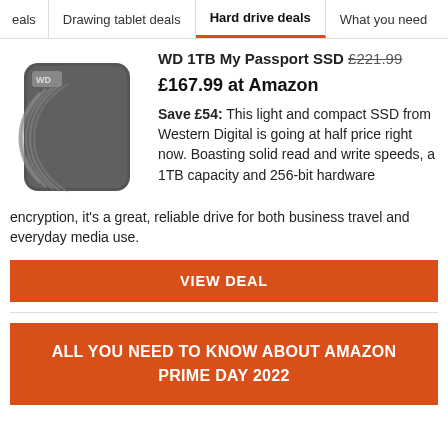eals | Drawing tablet deals | Hard drive deals | What you need
WD 1TB My Passport SSD £221.99 £167.99 at Amazon
Save £54: This light and compact SSD from Western Digital is going at half price right now. Boasting solid read and write speeds, a 1TB capacity and 256-bit hardware encryption, it's a great, reliable drive for both business travel and everyday media use.
VIEW DEAL
ALL YOU NEED TO KNOW ABOUT AMAZON PRIME DAY 2022